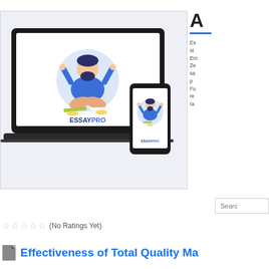[Figure (screenshot): EssayPro website/app promotional image showing a cartoon bearded man meditating in yoga pose on a laptop screen and mobile phone screen. The laptop and phone both display the ESSAYPRO logo. Background is light gray.]
A

Essaypro students... Em Ze sa p Fu re ra
Search
☆☆☆☆☆ (No Ratings Yet)
Effectiveness of Total Quality Ma